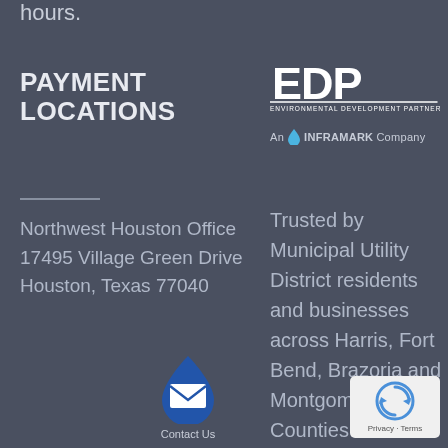hours.
PAYMENT LOCATIONS
Northwest Houston Office
17495 Village Green Drive
Houston, Texas 77040
[Figure (logo): EDP Environmental Development Partners logo, An Inframark Company]
Trusted by Municipal Utility District residents and businesses across Harris, Fort Bend, Brazoria and Montgomery Counties for over years.
[Figure (other): Contact Us button with envelope icon and water drop shape]
[Figure (other): reCAPTCHA badge with Privacy and Terms links]